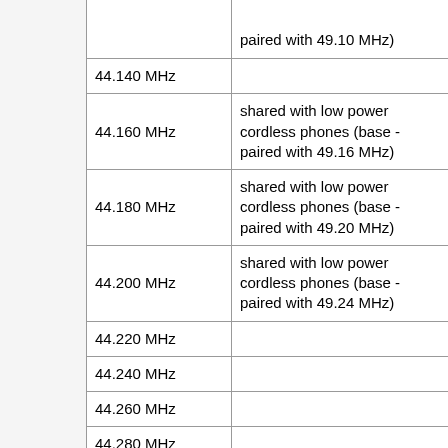| Frequency | Notes |
| --- | --- |
|  | paired with 49.10 MHz) |
| 44.140 MHz |  |
| 44.160 MHz | shared with low power cordless phones (base - paired with 49.16 MHz) |
| 44.180 MHz | shared with low power cordless phones (base - paired with 49.20 MHz) |
| 44.200 MHz | shared with low power cordless phones (base - paired with 49.24 MHz) |
| 44.220 MHz |  |
| 44.240 MHz |  |
| 44.260 MHz |  |
| 44.280 MHz |  |
| 44.300 MHz |  |
| 44.320 MHz | shared with low power cordless phones (base - paired with 49.28 MHz) |
| 44.340 MHz |  |